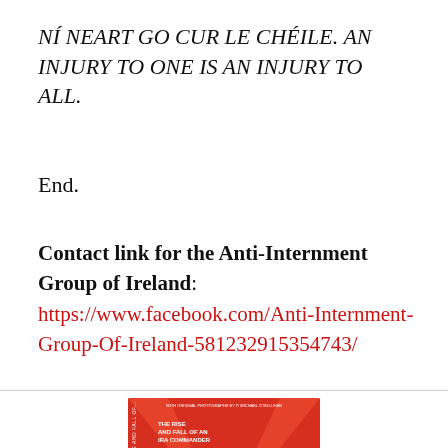NÍ NEART GO CUR LE CHÉILE. AN INJURY TO ONE IS AN INJURY TO ALL.
End.
Contact link for the Anti-Internment Group of Ireland: https://www.facebook.com/Anti-Internment-Group-Of-Ireland-581232915354743/
[Figure (illustration): Book cover for 'Up Like a Bird: The Rise and Fall of an IRA Commander', red background with swirl design, white bold text. Side text reads 'UP LIKE A BIRD - THE RISE AND FALL OF...'. Small text at top: 'WITH ORIGINAL PHOTOGRAPHS BY P. MICHAEL O'SULLIVAN'.]